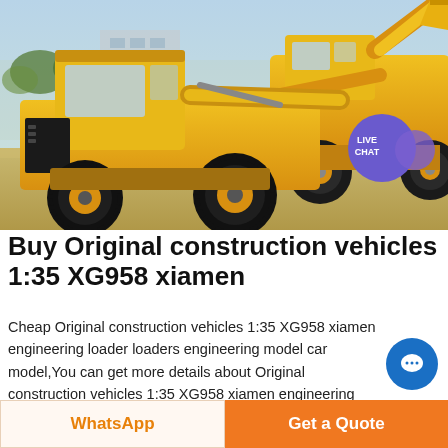[Figure (photo): Two yellow construction wheel loaders (front loader / bucket loader) parked on a dirt/sand surface at a construction yard. One loader is in the foreground facing left, the other is behind and to the right. Blue sky and trees visible in background. A 'LIVE CHAT' badge appears in the upper right corner of the photo.]
Buy Original construction vehicles 1:35 XG958 xiamen
Cheap Original construction vehicles 1:35 XG958 xiamen engineering loader loaders engineering model car model,You can get more details about Original construction vehicles 1:35 XG958 xiamen engineering loader